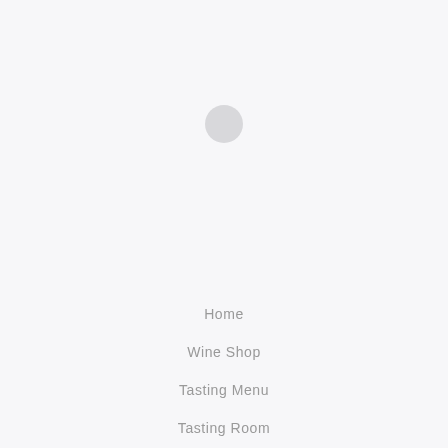[Figure (illustration): Small light gray circle icon centered on the upper half of the page]
Home
Wine Shop
Tasting Menu
Tasting Room
Selection Process